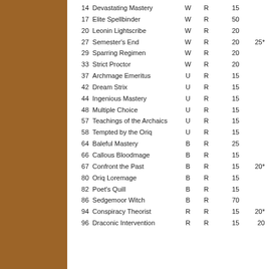| # | Name | Color | Rarity | Val1 | Val2 |
| --- | --- | --- | --- | --- | --- |
| 14 | Devastating Mastery | W | R | 15 |  |
| 17 | Elite Spellbinder | W | R | 50 |  |
| 20 | Leonin Lightscribe | W | R | 20 |  |
| 27 | Semester's End | W | R | 20 | 25* |
| 29 | Sparring Regimen | W | R | 20 |  |
| 33 | Strict Proctor | W | R | 20 |  |
| 37 | Archmage Emeritus | U | R | 15 |  |
| 42 | Dream Strix | U | R | 15 |  |
| 44 | Ingenious Mastery | U | R | 15 |  |
| 48 | Multiple Choice | U | R | 15 |  |
| 57 | Teachings of the Archaics | U | R | 15 |  |
| 58 | Tempted by the Oriq | U | R | 15 |  |
| 64 | Baleful Mastery | B | R | 25 |  |
| 66 | Callous Bloodmage | B | R | 15 |  |
| 67 | Confront the Past | B | R | 15 | 20* |
| 80 | Oriq Loremage | B | R | 15 |  |
| 82 | Poet's Quill | B | R | 15 |  |
| 86 | Sedgemoor Witch | B | R | 70 |  |
| 94 | Conspiracy Theorist | R | R | 15 | 20* |
| 96 | Draconic Intervention | R | R | 15 | 20 |